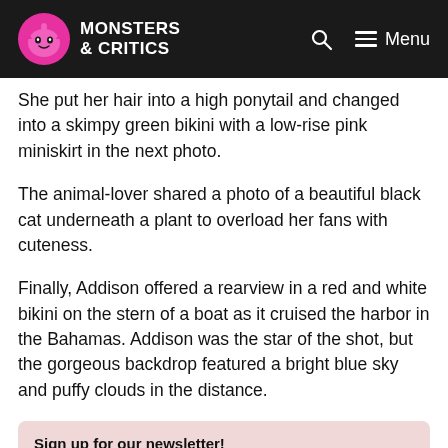Monsters & Critics — Menu
She put her hair into a high ponytail and changed into a skimpy green bikini with a low-rise pink miniskirt in the next photo.
The animal-lover shared a photo of a beautiful black cat underneath a plant to overload her fans with cuteness.
Finally, Addison offered a rearview in a red and white bikini on the stern of a boat as it cruised the harbor in the Bahamas. Addison was the star of the shot, but the gorgeous backdrop featured a bright blue sky and puffy clouds in the distance.
Sign up for our newsletter!